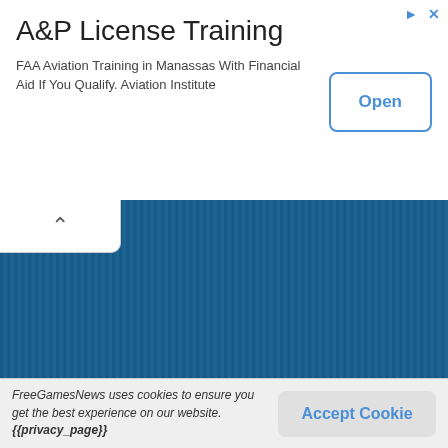[Figure (screenshot): Advertisement banner for A&P License Training. Shows title 'A&P License Training', description text 'FAA Aviation Training in Manassas With Financial Aid If You Qualify. Aviation Institute', and an 'Open' button.]
A&P License Training
FAA Aviation Training in Manassas With Financial Aid If You Qualify. Aviation Institute
[Figure (screenshot): Blue textured game area panel with a white collapse/chevron tab button in the upper left corner.]
FreeGamesNews uses cookies to ensure you get the best experience on our website. {{privacy_page}}
Accept Cookie